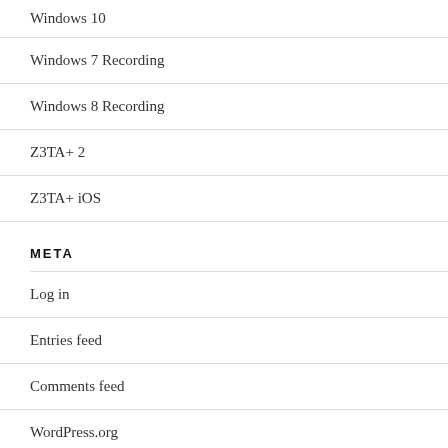Windows 10
Windows 7 Recording
Windows 8 Recording
Z3TA+ 2
Z3TA+ iOS
META
Log in
Entries feed
Comments feed
WordPress.org